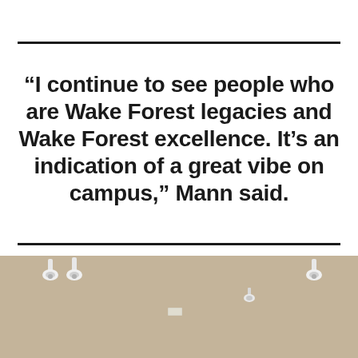“I continue to see people who are Wake Forest legacies and Wake Forest excellence. It’s an indication of a great vibe on campus,” Mann said.
[Figure (photo): Interior ceiling photo showing white track lighting fixtures mounted on a beige/tan ceiling]